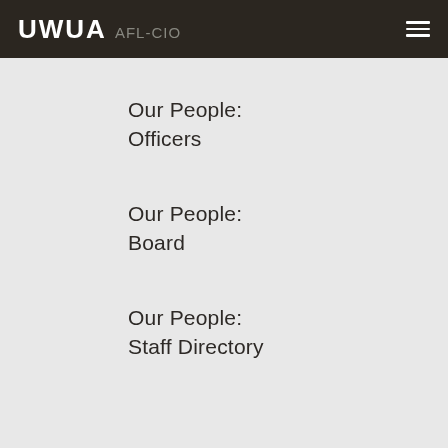UWUA AFL-CIO
Our People: Officers
Our People: Board
Our People: Staff Directory